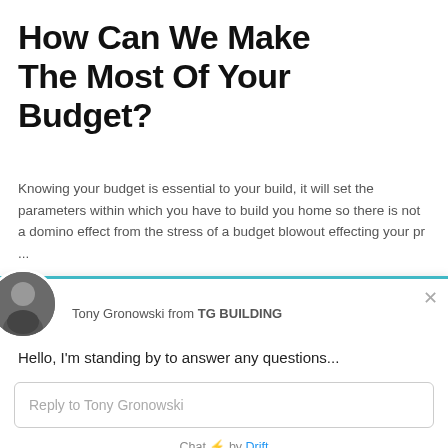How Can We Make The Most Of Your Budget?
Knowing your budget is essential to your build, it will set the parameters within which you have to build you home so there is not a domino effect from the stress of a budget blowout effecting your pr ...
[Figure (screenshot): Chat widget from Drift showing avatar of Tony Gronowski, message 'Hello, I'm standing by to answer any questions...', reply input box, and 'Chat by Drift' footer.]